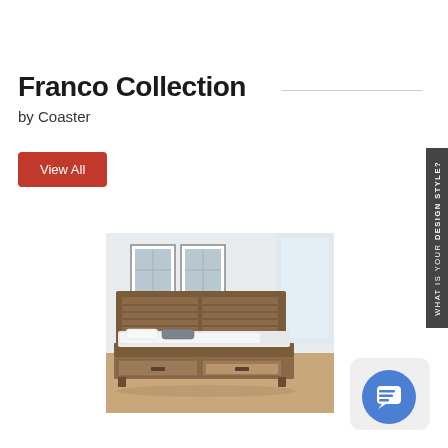Franco Collection
by Coaster
View All
[Figure (photo): A wooden storage bed with louvered headboard panels, white bedding and grey pillows, with two storage drawers open at the foot of the bed, photographed in a light-filled room with framed art on the wall.]
WHAT IS YOUR DESIGN STYLE?